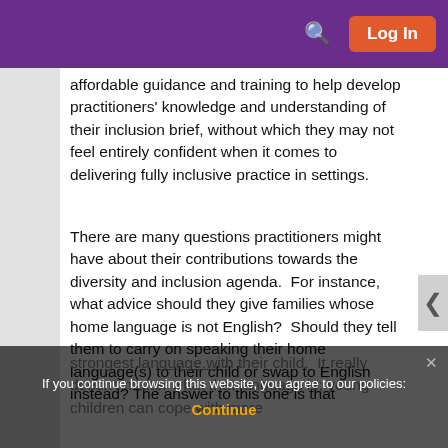Log In
affordable guidance and training to help develop practitioners' knowledge and understanding of their inclusion brief, without which they may not feel entirely confident when it comes to delivering fully inclusive practice in settings.
There are many questions practitioners might have about their contributions towards the diversity and inclusion agenda.  For instance, what advice should they give families whose home language is not English?  Should they tell them to carry on speaking their home language(s) to their child or swap to English instead? The answer to this one is that
strongest language with their child.  It really doesn't matter what that language is; young children can cope with more
If you continue browsing this website, you agree to our policies:
Continue